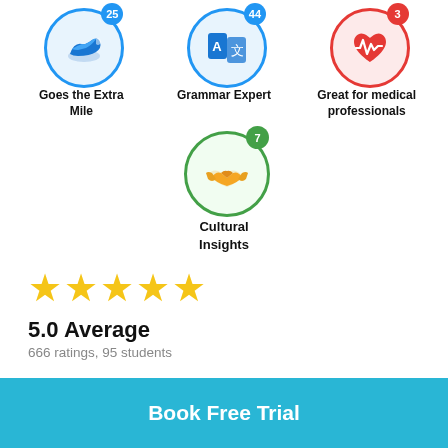[Figure (infographic): Badge icon: sneaker/shoe in blue circle with count 25, labeled Goes the Extra Mile]
Goes the Extra Mile
[Figure (infographic): Badge icon: grammar/translation A文 in blue circle with count 44, labeled Grammar Expert]
Grammar Expert
[Figure (infographic): Badge icon: heart with ECG in red circle with count 3, labeled Great for medical professionals]
Great for medical professionals
[Figure (infographic): Badge icon: handshake in green circle with count 7, labeled Cultural Insights]
Cultural Insights
5.0 Average
666 ratings, 95 students
Book Free Trial